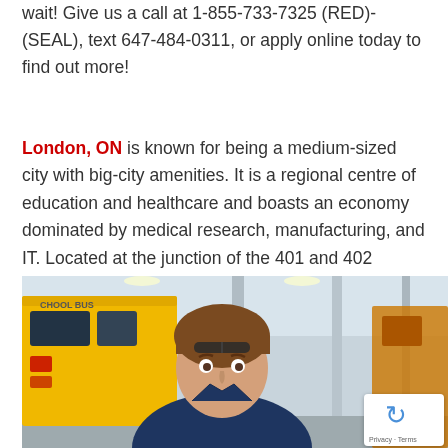wait! Give us a call at 1-855-733-7325 (RED)-(SEAL), text 647-484-0311, or apply online today to find out more!
London, ON is known for being a medium-sized city with big-city amenities. It is a regional centre of education and healthcare and boasts an economy dominated by medical research, manufacturing, and IT. Located at the junction of the 401 and 402 highways, London is around 2 hours by car from Toronto, Windsor, and the US border.
[Figure (photo): A young man in a blue work shirt with safety glasses on his head, smiling at the camera. Behind him is a yellow school bus and what appears to be a vehicle maintenance garage or workshop. A reCAPTCHA badge is overlaid in the bottom-right corner.]